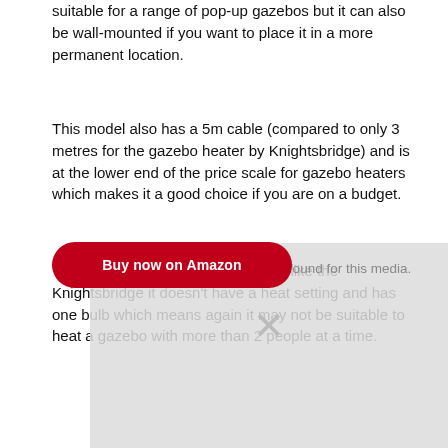suitable for a range of pop-up gazebos but it can also be wall-mounted if you want to place it in a more permanent location.
This model also has a 5m cable (compared to only 3 metres for the gazebo heater by Knightsbridge) and is at the lower end of the price scale for gazebo heaters which makes it a good choice if you are on a budget.
The main downside of this model is like the Knightsbridge it doesn't have a heat setting and has one bulb which means again it may not be suitable to heat a gazebo with more than 2 people at a time.
[Figure (other): A video player overlay showing 'No compatible source was found for this media.' message with a close X button, partially obscuring a 'Buy now on Amazon' red button below the text.]